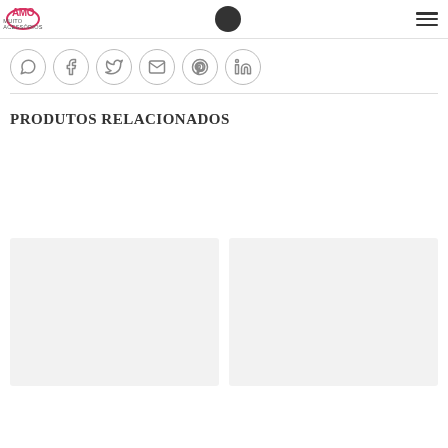AMO MUITO ACESSÓRIOS
[Figure (other): Social share icons: WhatsApp, Facebook, Twitter, Email, Pinterest, LinkedIn — circular outline buttons]
PRODUTOS RELACIONADOS
[Figure (other): Two product placeholder cards with light gray background]
[Figure (other): Two product placeholder cards with light gray background]